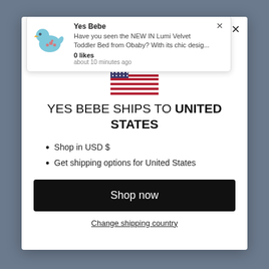[Figure (screenshot): Notification popup showing Yes Bebe logo (duck illustration), title 'Yes Bebe', message about Lumi Velvet Toddler Bed, 0 likes, about 10 minutes ago]
[Figure (illustration): US flag simplified stripes illustration]
YES BEBE SHIPS TO UNITED STATES
Shop in USD $
Get shipping options for United States
Shop now
Change shipping country